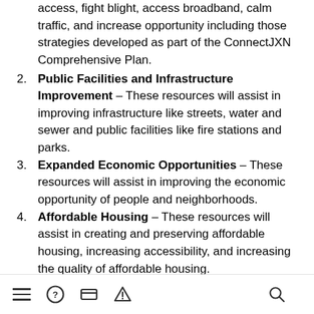access, fight blight, access broadband, calm traffic, and increase opportunity including those strategies developed as part of the ConnectJXN Comprehensive Plan.
2. Public Facilities and Infrastructure Improvement – These resources will assist in improving infrastructure like streets, water and sewer and public facilities like fire stations and parks.
3. Expanded Economic Opportunities – These resources will assist in improving the economic opportunity of people and neighborhoods.
4. Affordable Housing – These resources will assist in creating and preserving affordable housing, increasing accessibility, and increasing the quality of affordable housing.
5. Efforts to Prevent Homelessness – These resources will assist in reducing homelessness through
navigation bar with menu, help, payment, alert, and search icons